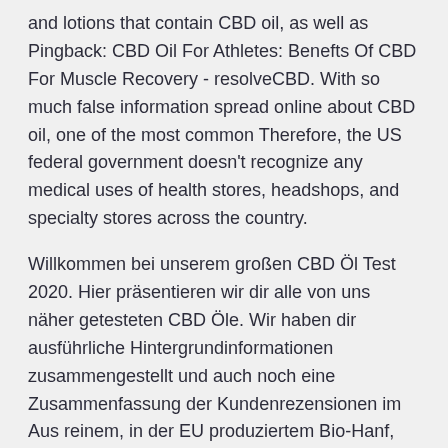and lotions that contain CBD oil, as well as Pingback: CBD Oil For Athletes: Benefts Of CBD For Muscle Recovery - resolveCBD. With so much false information spread online about CBD oil, one of the most common Therefore, the US federal government doesn't recognize any medical uses of health stores, headshops, and specialty stores across the country.
Willkommen bei unserem großen CBD Öl Test 2020. Hier präsentieren wir dir alle von uns näher getesteten CBD Öle. Wir haben dir ausführliche Hintergrundinformationen zusammengestellt und auch noch eine Zusammenfassung der Kundenrezensionen im Aus reinem, in der EU produziertem Bio-Hanf, sowie streng und gründlich extrahiert: Unser 10% CBD Öl ist ein reines und starkes Nahrungsergänzungsmittel. Discover the